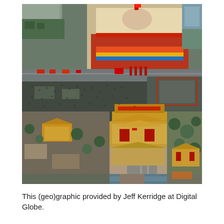[Figure (photo): Aerial satellite photograph looking down at Tiananmen Square area in Beijing, China. The image shows a large public gathering or parade event. Visible features include Tiananmen Gate with red decorations and a large portrait, a wide central boulevard with crowds and vehicles, the Forbidden City palace complex with traditional yellow-roofed buildings, trees, and surrounding urban areas. Red banners and decorations are visible throughout. The image is captured from directly above at high altitude.]
This (geo)graphic provided by Jeff Kerridge at Digital Globe.